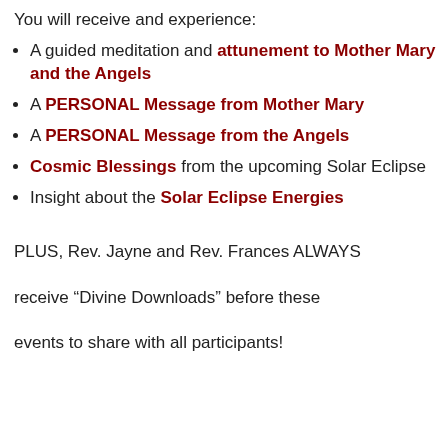You will receive and experience:
A guided meditation and attunement to Mother Mary and the Angels
A PERSONAL Message from Mother Mary
A PERSONAL Message from the Angels
Cosmic Blessings from the upcoming Solar Eclipse
Insight about the Solar Eclipse Energies
PLUS, Rev. Jayne and Rev. Frances ALWAYS receive “Divine Downloads” before these events to share with all participants!